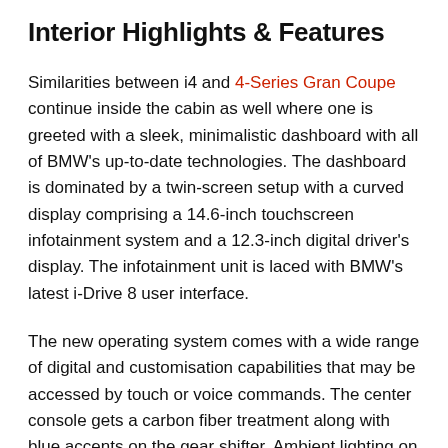Interior Highlights & Features
Similarities between i4 and 4-Series Gran Coupe continue inside the cabin as well where one is greeted with a sleek, minimalistic dashboard with all of BMW's up-to-date technologies. The dashboard is dominated by a twin-screen setup with a curved display comprising a 14.6-inch touchscreen infotainment system and a 12.3-inch digital driver's display. The infotainment unit is laced with BMW's latest i-Drive 8 user interface.
The new operating system comes with a wide range of digital and customisation capabilities that may be accessed by touch or voice commands. The center console gets a carbon fiber treatment along with blue accents on the gear shifter. Ambient lighting on dash and door trims enhances the in-cabin experience of